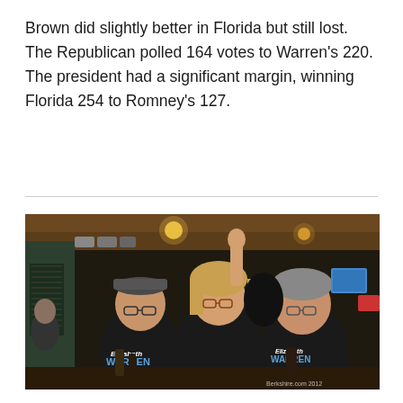Brown did slightly better in Florida but still lost. The Republican polled 164 votes to Warren's 220. The president had a significant margin, winning Florida 254 to Romney's 127.
[Figure (photo): Three people smiling in a bar/restaurant, two wearing black Elizabeth Warren for Senate campaign t-shirts. One person in the center has their hand raised. Indoor bar setting with warm lighting. Watermark reads 'Berkshire.com 2012'.]